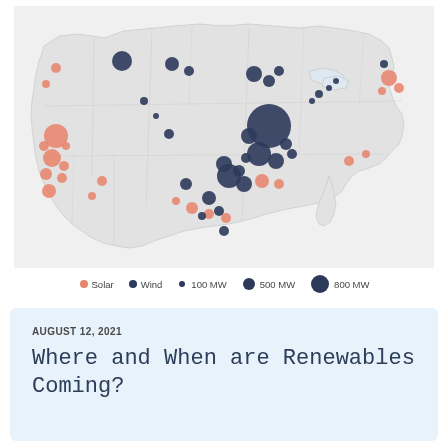[Figure (map): Bubble map of the contiguous United States showing locations of solar (coral/orange circles) and wind (dark navy circles) energy projects, with bubble size proportional to capacity in MW (100 MW, 500 MW, 800 MW). Concentrations visible in California, Texas, Midwest, and Great Plains regions.]
Solar   Wind   100 MW   500 MW   800 MW
AUGUST 12, 2021
Where and When are Renewables Coming?